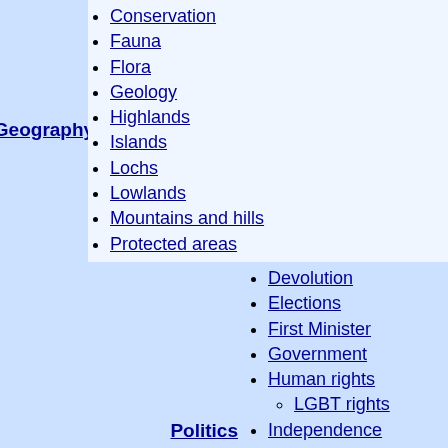Geography
Conservation
Fauna
Flora
Geology
Highlands
Islands
Lochs
Lowlands
Mountains and hills
Protected areas
Waterfalls
Politics
Devolution
Elections
First Minister
Government
Human rights
LGBT rights
Independence
Local government
Military history
Monarchs
Members of